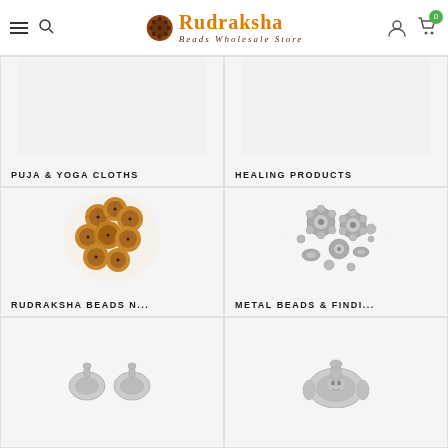[Figure (logo): Rudraksha Beads Wholesale Store logo with a rudraksha bead image and orange text]
[Figure (photo): Category card: PUJA & YOGA CLOTHS - light grey placeholder background]
[Figure (photo): Category card: HEALING PRODUCTS - light grey placeholder background]
[Figure (photo): Category card: RUDRAKSHA BEADS N... - brown rudraksha beads on white background]
[Figure (photo): Category card: METAL BEADS & FINDI... - silver metal beads on white background]
[Figure (photo): Category card (partial): silver pendants on white background (bottom left)]
[Figure (photo): Category card (partial): silver deity pendant on white background (bottom right)]